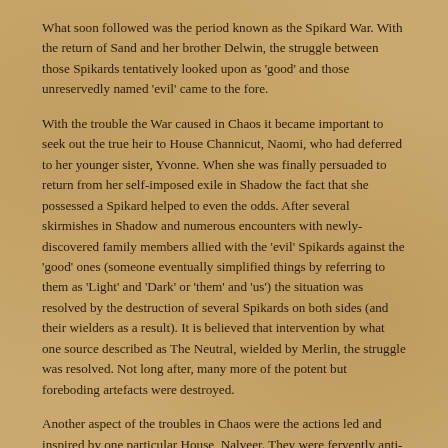What soon followed was the period known as the Spikard War. With the return of Sand and her brother Delwin, the struggle between those Spikards tentatively looked upon as 'good' and those unreservedly named 'evil' came to the fore.
With the trouble the War caused in Chaos it became important to seek out the true heir to House Channicut, Naomi, who had deferred to her younger sister, Yvonne. When she was finally persuaded to return from her self-imposed exile in Shadow the fact that she possessed a Spikard helped to even the odds. After several skirmishes in Shadow and numerous encounters with newly-discovered family members allied with the 'evil' Spikards against the 'good' ones (someone eventually simplified things by referring to them as 'Light' and 'Dark' or 'them' and 'us') the situation was resolved by the destruction of several Spikards on both sides (and their wielders as a result). It is believed that intervention by what one source described as The Neutral, wielded by Merlin, the struggle was resolved. Not long after, many more of the potent but foreboding artefacts were destroyed.
Another aspect of the troubles in Chaos were the actions led and inspired by one particular House, Nalveer. They were fervently anti-Amber and were responsible for a number of schemes intended to weaken Amber and her hold over the sovereign realm of Chaos, as represented by Merlin being king. Needless to say, the combined cunning and power (and sometimes outright luckiness) of their opponents blocked them at every turn.
Much of what occurred afterwards was considered 'clearing up'; those hostile